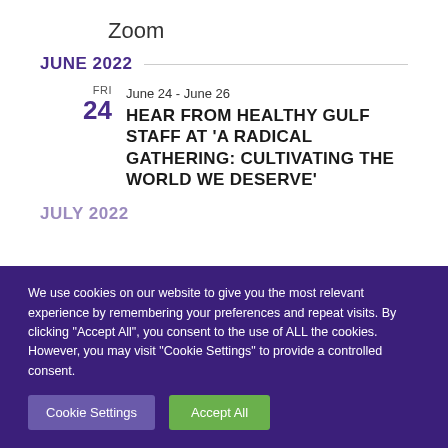Zoom
JUNE 2022
FRI
24
June 24 - June 26
HEAR FROM HEALTHY GULF STAFF AT 'A RADICAL GATHERING: CULTIVATING THE WORLD WE DESERVE'
JULY 2022
We use cookies on our website to give you the most relevant experience by remembering your preferences and repeat visits. By clicking "Accept All", you consent to the use of ALL the cookies. However, you may visit "Cookie Settings" to provide a controlled consent.